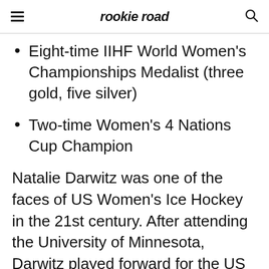rookie road
Eight-time IIHF World Women's Championships Medalist (three gold, five silver)
Two-time Women's 4 Nations Cup Champion
Natalie Darwitz was one of the faces of US Women's Ice Hockey in the 21st century. After attending the University of Minnesota, Darwitz played forward for the US Women's national team. Darwitz helped lead the team to silver medals in the 2002 and 2010 Winter Olympics while